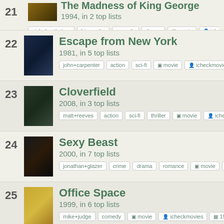21 - The Madness of King George, 1994, in 2 top lists. Tags: nicholas+hytner, biography, comedy, drama, movie, icheckmovies
22 - Escape from New York, 1981, in 5 top lists. Tags: john+carpenter, action, sci-fi, movie, icheckmovies, 1981
23 - Cloverfield, 2008, in 3 top lists. Tags: matt+reeves, action, sci-fi, thriller, movie, icheckmovies, 2
24 - Sexy Beast, 2000, in 7 top lists. Tags: jonathan+glazer, crime, drama, romance, movie, icheckmovies
25 - Office Space, 1999, in 6 top lists. Tags: mike+judge, comedy, movie, icheckmovies, 1999